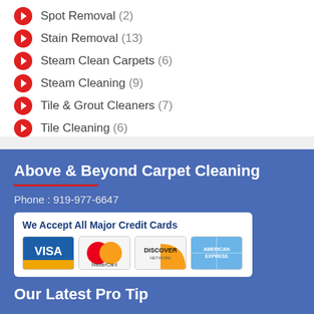Spot Removal (2)
Stain Removal (13)
Steam Clean Carpets (6)
Steam Cleaning (9)
Tile & Grout Cleaners (7)
Tile Cleaning (6)
Above & Beyond Carpet Cleaning
Phone : 919-977-6647
[Figure (infographic): We Accept All Major Credit Cards with Visa, MasterCard, Discover, and American Express logos]
Our Latest Pro Tip